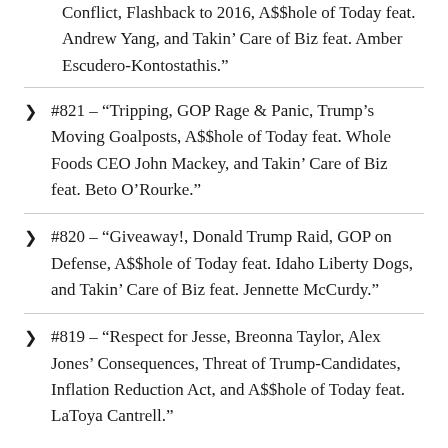Conflict, Flashback to 2016, A$$hole of Today feat. Andrew Yang, and Takin’ Care of Biz feat. Amber Escudero-Kontostathis.”
#821 – “Tripping, GOP Rage & Panic, Trump’s Moving Goalposts, A$$hole of Today feat. Whole Foods CEO John Mackey, and Takin’ Care of Biz feat. Beto O’Rourke.”
#820 – “Giveaway!, Donald Trump Raid, GOP on Defense, A$$hole of Today feat. Idaho Liberty Dogs, and Takin’ Care of Biz feat. Jennette McCurdy.”
#819 – “Respect for Jesse, Breonna Taylor, Alex Jones’ Consequences, Threat of Trump-Candidates, Inflation Reduction Act, and A$$hole of Today feat. LaToya Cantrell.”